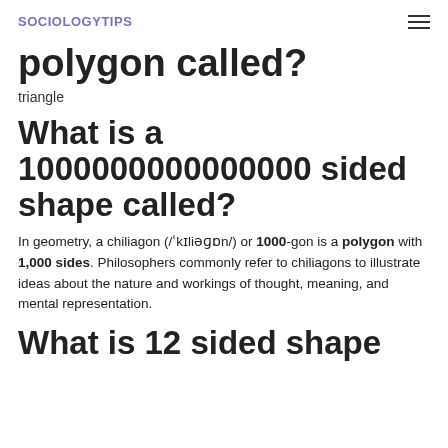SOCIOLOGYTIPS
polygon called?
triangle
What is a 1000000000000000 sided shape called?
In geometry, a chiliagon (/ˈkɪliəɡɒn/) or 1000-gon is a polygon with 1,000 sides. Philosophers commonly refer to chiliagons to illustrate ideas about the nature and workings of thought, meaning, and mental representation.
What is 12 sided shape